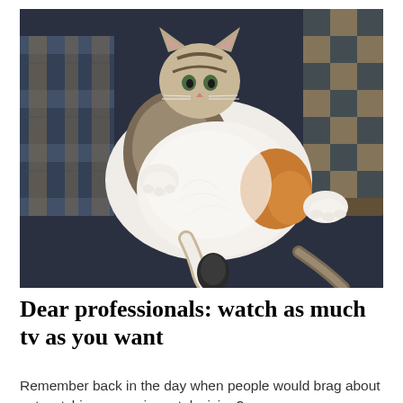[Figure (photo): A large fluffy cat lying on its back on a dark blue/navy sofa, with paws outstretched, belly exposed showing white and orange fur, with two plaid/checkered throw pillows on either side behind it.]
Dear professionals: watch as much tv as you want
Remember back in the day when people would brag about not watching or owning a television?